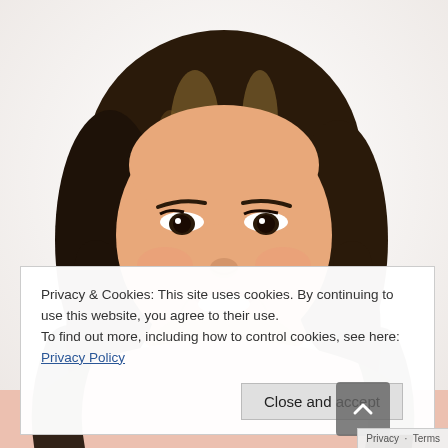[Figure (photo): Portrait photograph of a young Asian woman with long brown highlighted hair, smiling, wearing a light pink top, against a white background.]
Privacy & Cookies: This site uses cookies. By continuing to use this website, you agree to their use.
To find out more, including how to control cookies, see here: Privacy Policy
Close and accept
Privacy · Terms